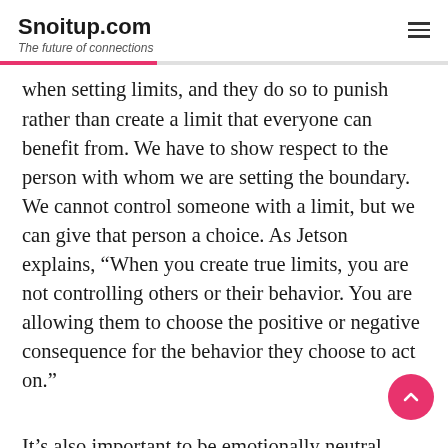Snoitup.com
The future of connections
when setting limits, and they do so to punish rather than create a limit that everyone can benefit from. We have to show respect to the person with whom we are setting the boundary. We cannot control someone with a limit, but we can give that person a choice. As Jetson explains, “When you create true limits, you are not controlling others or their behavior. You are allowing them to choose the positive or negative consequence for the behavior they choose to act on.”
It’s also important to be emotionally neutral